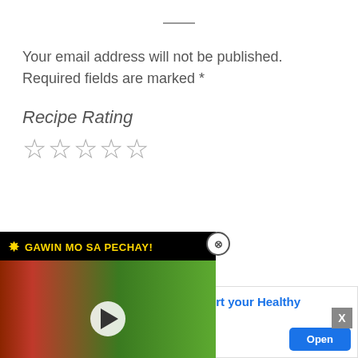Your email address will not be published. Required fields are marked *
Recipe Rating
[Figure (other): Five empty star rating icons]
[Figure (screenshot): Video overlay showing 'GAWIN MO SA PECHAY!' cooking video thumbnail with play button and close button]
[Figure (other): Advertisement banner: 'A Simple Way to Support your Healthy Lifestyle.' with Three Delicious Flavors, happy being, and Open button]